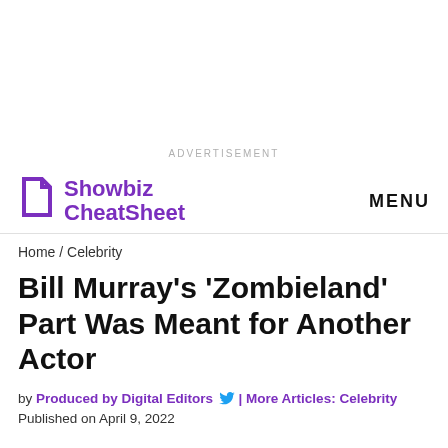ADVERTISEMENT
[Figure (logo): Showbiz CheatSheet logo with purple icon and purple text]
MENU
Home / Celebrity
Bill Murray's ‘Zombieland’ Part Was Meant for Another Actor
by Produced by Digital Editors [Twitter] | More Articles: Celebrity
Published on April 9, 2022
Zombieland, a comedy about a wayward group of misfits just trying to survive the